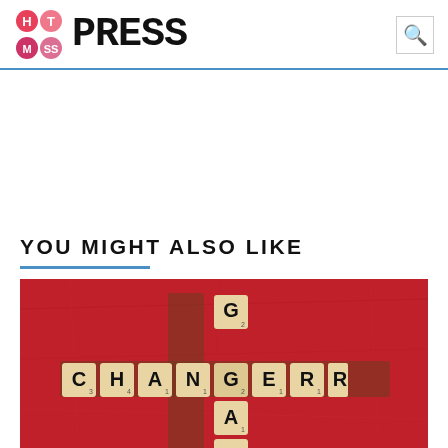Hot Mess Press
YOU MIGHT ALSO LIKE
[Figure (photo): Scrabble tiles on a red background spelling GAME CHANGER in a crossword arrangement]